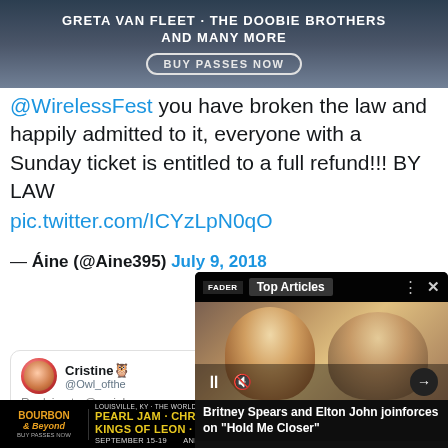[Figure (screenshot): Advertisement banner for a music festival featuring Greta Van Fleet and The Doobie Brothers with a BUY PASSES NOW button]
@WirelessFest you have broken the law and happily admitted to it, everyone with a Sunday ticket is entitled to a full refund!!! BY LAW pic.twitter.com/ICYzLpN0qO
— Áine (@Aine395) July 9, 2018
[Figure (screenshot): Video player overlay popup showing 'Top Articles' with FADER branding. Shows photo of two people (Britney Spears and Elton John). Caption: 'Britney Spears and Elton John joinforces on "Hold Me Closer"'. Controls show pause and mute buttons.]
[Figure (screenshot): Twitter reply card. User Cristine @Owl_ofthe replying to @craigb. Partial text visible.]
[Figure (screenshot): Advertisement banner for Bourbon & Beyond festival featuring Pearl Jam, Chris Stapleton, Kings of Leon, Jack White. Louisville, KY. September 15-19.]